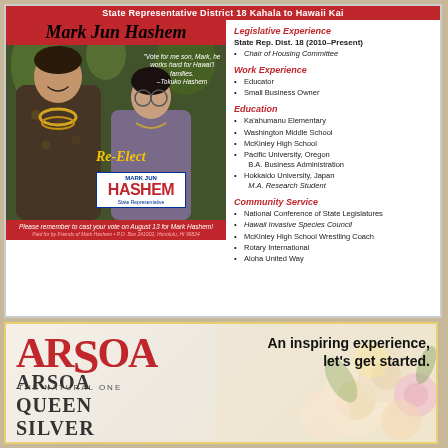State Representative District 18 Kahala to Hawaii Kai
Mark Jun Hashem
[Figure (photo): Photo of Mark Jun Hashem with his mother Tokuko Hashem at an event, with Re-Elect Mark Jun Hashem campaign logo overlay]
Legislative Experience
State Rep. Dist. 18 (2010–Present)
• Chair of Housing Committee
Work Experience
• Educator
• Small Business Owner
Education
• Ka'ahumanu Elementary
• Washington Middle School
• McKinley High School
• Pacific University, Oregon B.A. Business Administration
• Hokkaido University, Japan M.A. Research Student
Community Service
• National Conference of State Legislatures
• Hawaii Invasive Species Council
• McKinley High School Wrestling Coach
• Rotary International
• Aloha United Way
Please remember to cast your vote on August 13 for Mark Hashem!
Paid for by Friends of Mark Hashem • P.O. Box 241002, Honolulu, HI 96824
[Figure (logo): ARSOA THE NATURAL ONE logo in red with tagline 'An inspiring experience, let's get started.' and product text ARSOA QUEEN SILVER]
An inspiring experience, let's get started.
ARSOA QUEEN SILVER